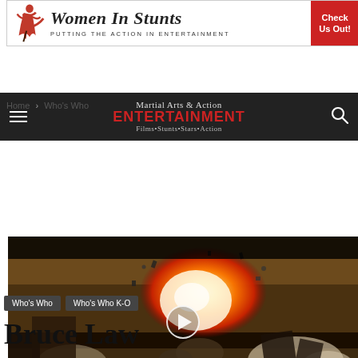[Figure (logo): Women In Stunts banner ad with woman in red dress kicking, tagline PUTTING THE ACTION IN ENTERTAINMENT, red Check Us Out button]
Martial Arts & Action ENTERTAINMENT Films•Stunts•Stars•Action
Home › Who's Who
[Figure (screenshot): Video thumbnail showing a large explosion fireball with debris, vehicles, and dust clouds in an outdoor scene. White circular play button overlay in center.]
Who's Who
Who's Who K-O
Bruce Law